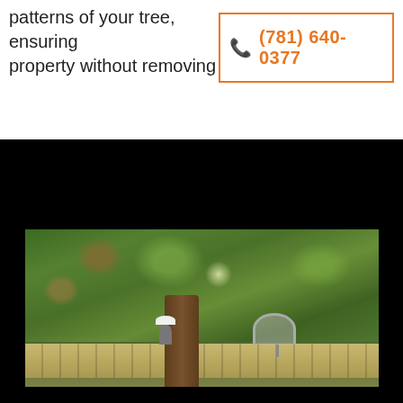patterns of your tree, ensuring property without removing the
(781) 640-0377
[Figure (photo): Outdoor photo showing trees and dense foliage in a backyard setting. A large tree trunk is visible in the foreground near a wooden fence. A satellite dish and a person wearing a hard hat are visible near the fence line. The background shows a lush green canopy of trees.]